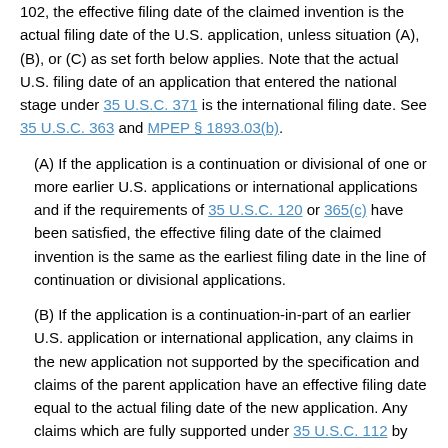102, the effective filing date of the claimed invention is the actual filing date of the U.S. application, unless situation (A), (B), or (C) as set forth below applies. Note that the actual U.S. filing date of an application that entered the national stage under 35 U.S.C. 371 is the international filing date. See 35 U.S.C. 363 and MPEP § 1893.03(b).
(A) If the application is a continuation or divisional of one or more earlier U.S. applications or international applications and if the requirements of 35 U.S.C. 120 or 365(c) have been satisfied, the effective filing date of the claimed invention is the same as the earliest filing date in the line of continuation or divisional applications.
(B) If the application is a continuation-in-part of an earlier U.S. application or international application, any claims in the new application not supported by the specification and claims of the parent application have an effective filing date equal to the actual filing date of the new application. Any claims which are fully supported under 35 U.S.C. 112 by the earlier parent application have the...